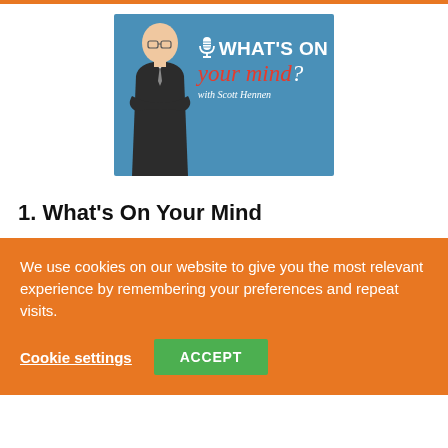[Figure (logo): What's On Your Mind? with Scott Hennen podcast logo — blue background with a man in a suit and the show title text]
1. What's On Your Mind
We use cookies on our website to give you the most relevant experience by remembering your preferences and repeat visits.
Cookie settings   ACCEPT